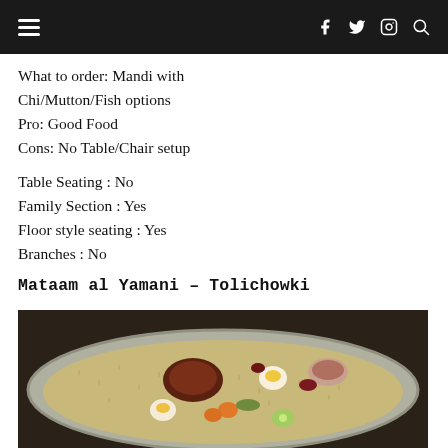≡  f  twitter  instagram  search
What to order: Mandi with Chi/Mutton/Fish options
Pro: Good Food
Cons: No Table/Chair setup
Table Seating : No
Family Section : Yes
Floor style seating : Yes
Branches : No
Mataam al Yamani – Tolichowki
[Figure (photo): A large steel plate of Mandi rice topped with grilled meat, boiled eggs sliced in half, carrot slices, cucumber slices, and herbs, with a small bowl of sauce on the side. The plate is set on a dark table.]